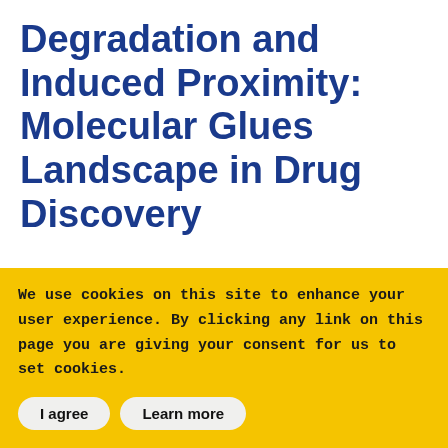Degradation and Induced Proximity: Molecular Glues Landscape in Drug Discovery
Induced-proximity target protein degradation (TPD) is a ground-breaking strategy in drug discovery that has emerged in the last decade. This CAS white paper surveys the
We use cookies on this site to enhance your user experience. By clicking any link on this page you are giving your consent for us to set cookies.